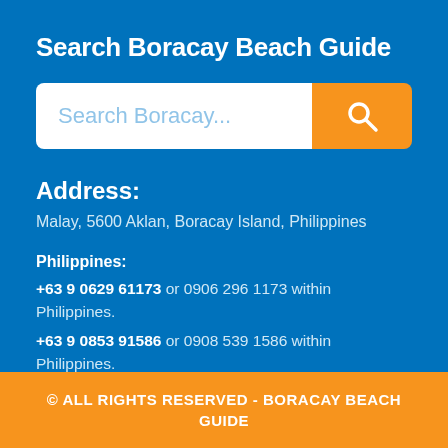Search Boracay Beach Guide
[Figure (screenshot): Search bar with placeholder text 'Search Boracay...' and an orange search button with magnifying glass icon]
Address:
Malay, 5600 Aklan, Boracay Island, Philippines
Philippines:
+63 9 0629 61173 or 0906 296 1173 within Philippines.
+63 9 0853 91586 or 0908 539 1586 within Philippines.
© ALL RIGHTS RESERVED - BORACAY BEACH GUIDE